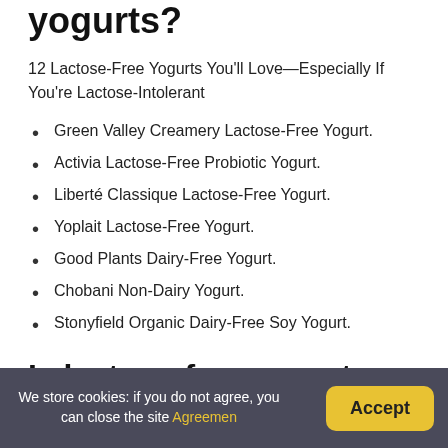yogurts?
12 Lactose-Free Yogurts You'll Love—Especially If You're Lactose-Intolerant
Green Valley Creamery Lactose-Free Yogurt.
Activia Lactose-Free Probiotic Yogurt.
Liberté Classique Lactose-Free Yogurt.
Yoplait Lactose-Free Yogurt.
Good Plants Dairy-Free Yogurt.
Chobani Non-Dairy Yogurt.
Stonyfield Organic Dairy-Free Soy Yogurt.
Is lactose-free yogurt healthy?
“Dairy-free yogurt is a great option if you are looking for a
We store cookies: if you do not agree, you can close the site Agreemen